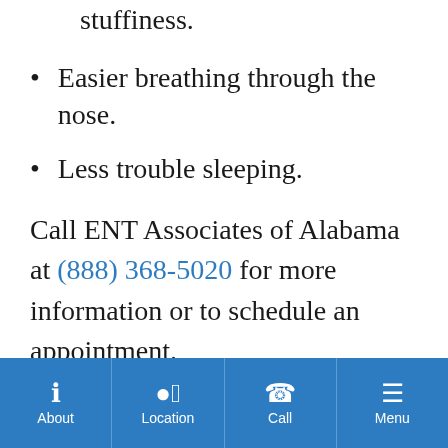Reduced nasal congestion or stuffiness.
Easier breathing through the nose.
Less trouble sleeping.
Call ENT Associates of Alabama at (888) 368-5020 for more information or to schedule an appointment.
About | Location | Call | Menu